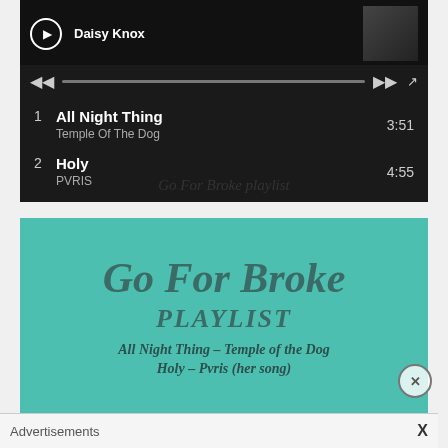[Figure (screenshot): Music player interface showing playlist with tracks: 1. All Night Thing - Temple Of The Dog (3:51), 2. Holy - PVRIS (4:55). Player shows Daisy Knox as current track with playback controls.]
Go For Broke playlist
[Figure (infographic): Teal/turquoise background promotional image for 'Go For Broke PLAYLIST' featuring tracks: All Night Thing - Temple of the Dog, Holy - Pvris (her song)]
Advertisements
X